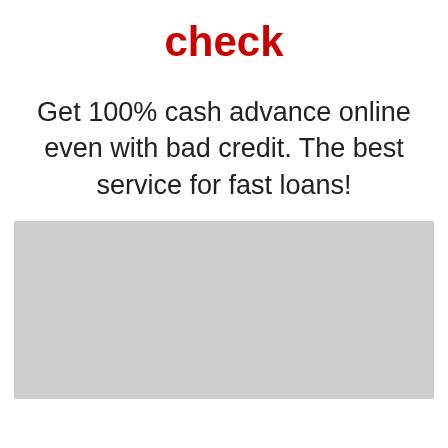check
Get 100% cash advance online even with bad credit. The best service for fast loans!
[Figure (other): Gray placeholder image rectangle]